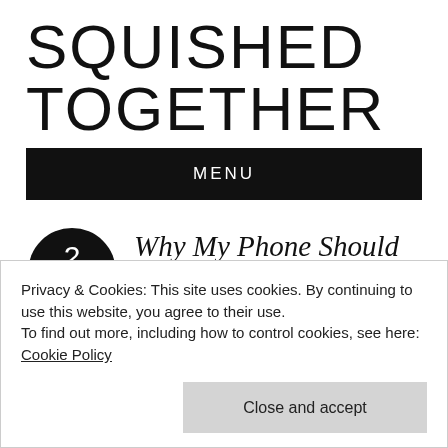SQUISHED TOGETHER
MENU
Why My Phone Should Be A Glucose Meter!
Privacy & Cookies: This site uses cookies. By continuing to use this website, you agree to their use.
To find out more, including how to control cookies, see here: Cookie Policy
Close and accept